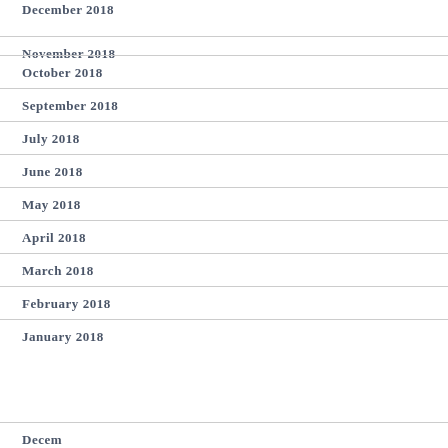December 2018 (partial)
November 2018
October 2018
September 2018
July 2018
June 2018
May 2018
April 2018
March 2018
February 2018
January 2018
December (partial at bottom)